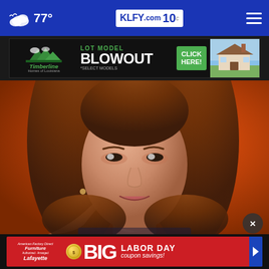KLFY.com 10 — 77°
[Figure (screenshot): Timberline Homes of Louisiana advertisement — Lot Model Blowout, Click Here, *Select Models]
[Figure (photo): Close-up photo of a woman with brown hair against an orange background, gesturing with her hand]
[Figure (screenshot): American Factory Direct Furniture Lafayette advertisement — BIG Labor Day coupon savings!]